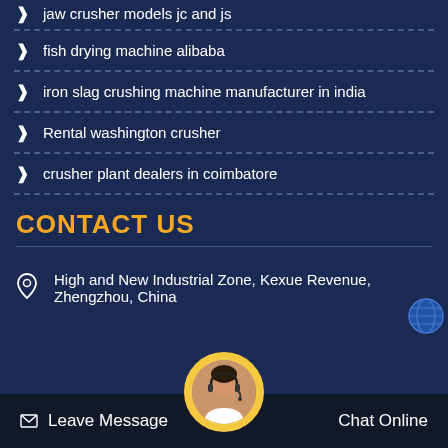jaw crusher models jc and js
fish drying machine alibaba
iron slag crushing machine manufacturer in india
Rental washington crusher
crusher plant dealers in coimbatore
CONTACT US
High and New Industrial Zone, Kexue Revenue, Zhengzhou, China
Leave Message
Chat Online